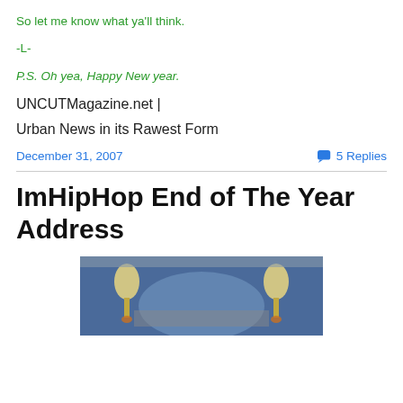So let me know what ya'll think.
-L-
P.S. Oh yea, Happy New year.
UNCUTMagazine.net |
Urban News in its Rawest Form
December 31, 2007
5 Replies
ImHipHop End of The Year Address
[Figure (photo): A stage or podium area with blue backdrop, decorative axe-like ornaments with gold and white coloring on either side]